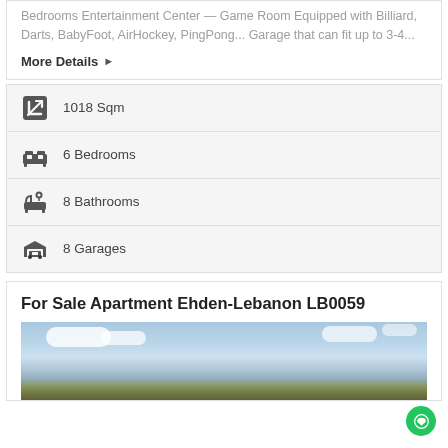Bedrooms Entertainment Center — Game Room Equipped with Billiard, Darts, BabyFoot, AirHockey, PingPong... Garage that can fit up to 3-4...
More Details ▶
1018 Sqm
6 Bedrooms
8 Bathrooms
8 Garages
For Sale Apartment Ehden-Lebanon LB0059
[Figure (photo): Exterior photo of an apartment building in Ehden, Lebanon, showing blue sky with white clouds and greenery in the foreground.]